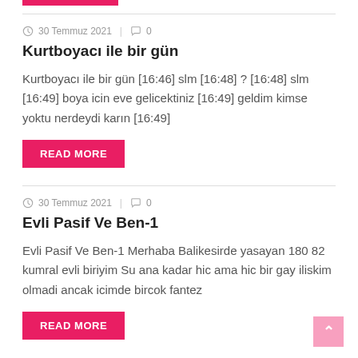30 Temmuz 2021 | 0
Kurtboyacı ile bir gün
Kurtboyacı ile bir gün [16:46] slm [16:48] ? [16:48] slm [16:49] boya icin eve gelicektiniz [16:49] geldim kimse yoktu nerdeydi karın [16:49]
READ MORE
30 Temmuz 2021 | 0
Evli Pasif Ve Ben-1
Evli Pasif Ve Ben-1 Merhaba Balikesirde yasayan 180 82 kumral evli biriyim Su ana kadar hic ama hic bir gay iliskim olmadi ancak icimde bircok fantez
READ MORE